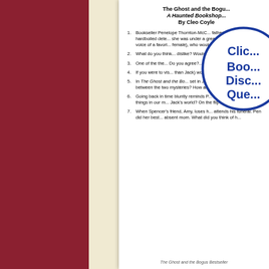The Ghost and the Bogu...
A Haunted Bookshop...
By Cleo Coyle
Bookseller Penelope Thornton-McC... father's collection of hardboiled dete... she was under a great deal of stre... her. If the voice of a favori... female), who would yo...
What do you think... dislike? Would y...
One of the the... Do you agree?... this "haunting" h...
If you were to vis... than Jack) would... want to spend mor...
In The Ghost and the Bo... set in Jack's past, the other in ... between the two mysteries? How ar...
Going back in time bluntly reminds P... Can you name three things in our m... Jack's world? On the flip side, can y... day?
When Spencer's friend, Amy, loses h... attends his funeral. Pen did her best... absent mom. What did you think of h...
The Ghost and the Bogus Bestseller